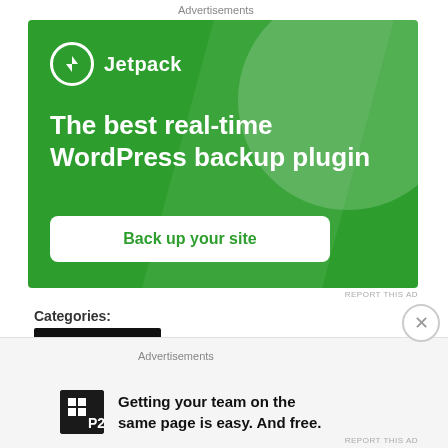Advertisements
[Figure (illustration): Jetpack WordPress plugin advertisement. Green background with large decorative circle in upper right corner and diagonal lighter green stripe. Shows Jetpack logo (white circle with lightning bolt icon) and brand name 'Jetpack' in white. Headline reads 'The best real-time WordPress backup plugin'. White rounded button with green text 'Back up your site'.]
REPORT THIS AD
Categories:
MY REVIEWS
Advertisements
[Figure (illustration): P2 advertisement. P2 logo (dark square with grid icon and P2 text). Text reads 'Getting your team on the same page is easy. And free.']
REPORT THIS AD